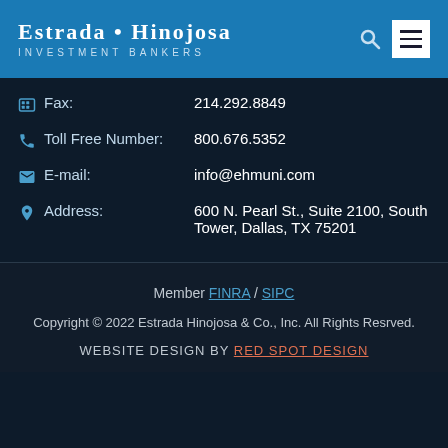ESTRADA • HINOJOSA INVESTMENT BANKERS
Fax: 214.292.8849
Toll Free Number: 800.676.5352
E-mail: info@ehmuni.com
Address: 600 N. Pearl St., Suite 2100, South Tower, Dallas, TX 75201
Member FINRA / SIPC
Copyright © 2022 Estrada Hinojosa & Co., Inc. All Rights Resrved.
WEBSITE DESIGN BY RED SPOT DESIGN